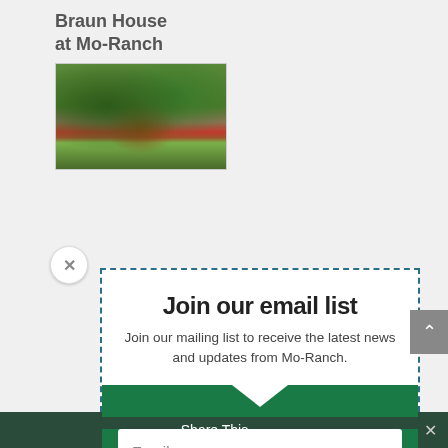Braun House
at Mo-Ranch
[Figure (photo): Photo of Braun House at Mo-Ranch showing a building with red roof surrounded by trees]
Join our email list
Join our mailing list to receive the latest news and updates from Mo-Ranch.
Email
SUBSCRIBE!
Share This